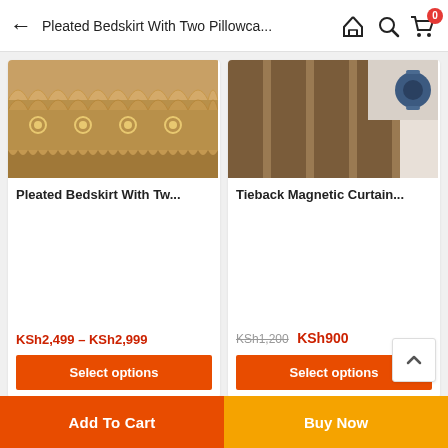Pleated Bedskirt With Two Pillowca...
[Figure (photo): Product image of a pleated bedskirt with golden/cream ruffled fabric and embroidery detail]
Pleated Bedskirt With Tw...
KSh2,499 – KSh2,999
Select options
[Figure (photo): Product image of brown/tan fabric curtain folds with a blue spool in the background]
Tieback Magnetic Curtain...
KSh1,200 KSh900
Select options
Add To Cart
Buy Now